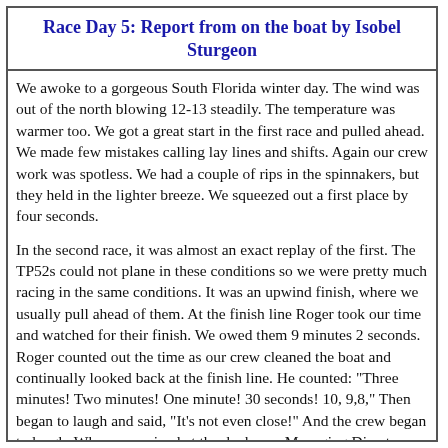Race Day 5: Report from on the boat by Isobel Sturgeon
We awoke to a gorgeous South Florida winter day. The wind was out of the north blowing 12-13 steadily. The temperature was warmer too. We got a great start in the first race and pulled ahead. We made few mistakes calling lay lines and shifts. Again our crew work was spotless. We had a couple of rips in the spinnakers, but they held in the lighter breeze. We squeezed out a first place by four seconds.
In the second race, it was almost an exact replay of the first. The TP52s could not plane in these conditions so we were pretty much racing in the same conditions. It was an upwind finish, where we usually pull ahead of them. At the finish line Roger took our time and watched for their finish. We owed them 9 minutes 2 seconds. Roger counted out the time as our crew cleaned the boat and continually looked back at the finish line. He counted: "Three minutes! Two minutes! One minute! 30 seconds! 10, 9,8," Then began to laugh and said, "It's not even close!" And the crew began to laugh. When we arrived at the dock, our Managing Director, Dave Cardinali, told us that the Race Committee blogger reported that we finished ahead of them by 9 minutes, 2 seconds. One second!! It really is